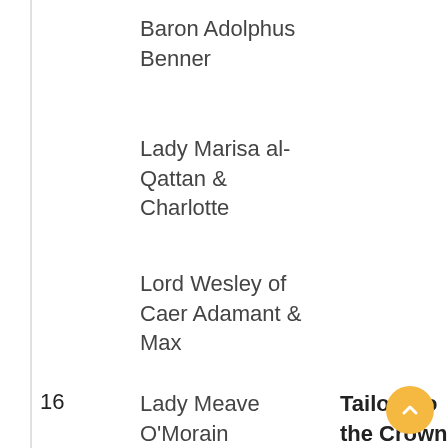Baron Adolphus Benner
Lady Marisa al-Qattan & Charlotte
Lord Wesley of Caer Adamant & Max
16	Lady Meave O'Morain Dumnona	Tailors to the Crown
Eimhir Callum
Aodhan Callum